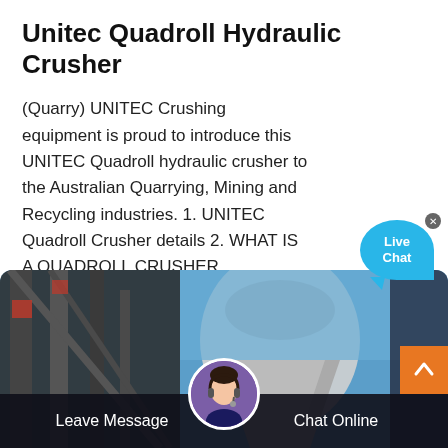Unitec Quadroll Hydraulic Crusher
(Quarry) UNITEC Crushing equipment is proud to introduce this UNITEC Quadroll hydraulic crusher to the Australian Quarrying, Mining and Recycling industries. 1. UNITEC Quadroll Crusher details 2. WHAT IS A QUADROLL CRUSHER ...
Read More
[Figure (photo): Industrial hydraulic crusher machinery against blue sky, with a live chat widget overlay in the upper right, a scroll-to-top orange button, a customer service agent avatar, and a bottom bar with 'Leave Message' and 'Chat Online' options]